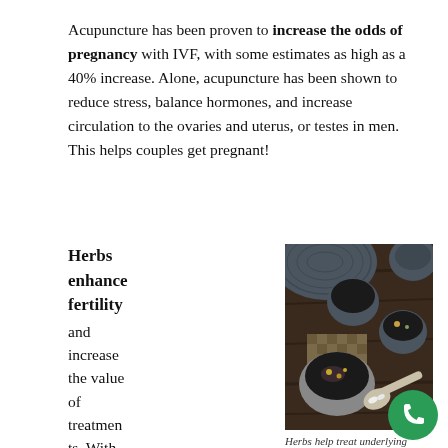Acupuncture has been proven to increase the odds of pregnancy with IVF, with some estimates as high as a 40% increase. Alone, acupuncture has been shown to reduce stress, balance hormones, and increase circulation to the ovaries and uterus, or testes in men. This helps couples get pregnant!
Herbs enhance fertility and increase the value of treatments. With many herbs
[Figure (photo): Overhead photo of Chinese/herbal tea setup on dark wooden table: a large dark ceramic pot lid, two dark cups filled with dark liquid (one with garnishes), a stone mortar bowl with dried herbs and seeds, and a spoon with white herb pieces.]
Herbs help treat underlying problems of infertility.